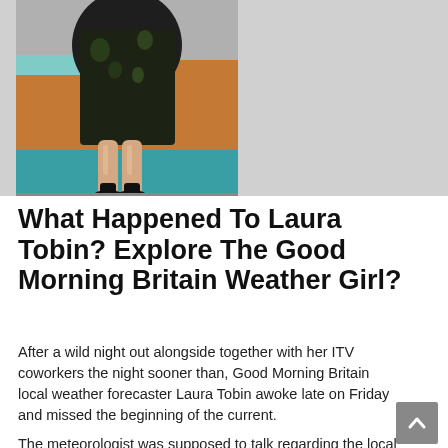[Figure (photo): Photo of a woman from the waist down wearing a dark floral dress and black heels, standing in a TV studio with teal floor and orange/wooden backdrop.]
What Happened To Laura Tobin? Explore The Good Morning Britain Weather Girl?
After a wild night out alongside together with her ITV coworkers the night sooner than, Good Morning Britain local weather forecaster Laura Tobin awoke late on Friday and missed the beginning of the current.
The meteorologist was supposed to talk regarding the local